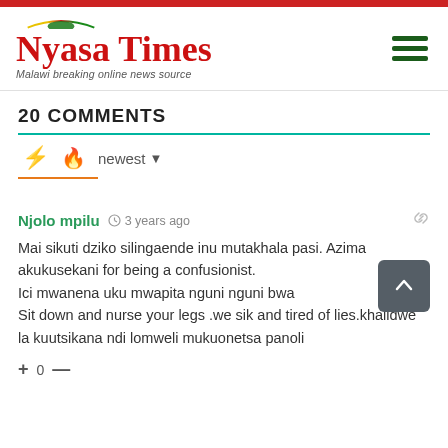Nyasa Times — Malawi breaking online news source
20 COMMENTS
newest
Njolo mpilu · 3 years ago
Mai sikuti dziko silingaende inu mutakhala pasi. Azima akukusekani for being a confusionist.
Ici mwanena uku mwapita nguni nguni bwa
Sit down and nurse your legs .we sik and tired of lies.khalidwe la kuutsikana ndi lomweli mukuonetsa panoli
+ 0 —